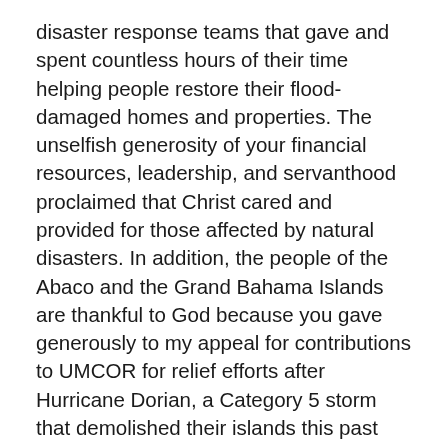disaster response teams that gave and spent countless hours of their time helping people restore their flood-damaged homes and properties. The unselfish generosity of your financial resources, leadership, and servanthood proclaimed that Christ cared and provided for those affected by natural disasters. In addition, the people of the Abaco and the Grand Bahama Islands are thankful to God because you gave generously to my appeal for contributions to UMCOR for relief efforts after Hurricane Dorian, a Category 5 storm that demolished their islands this past September.
I'm thankful for the difficult yet sensitive pastoral work of clergy and lay leaders before, during, and after the 2019 special session of General Conference. You have entered into difficult, uncomfortable, and grace-filled conversations with your key leaders, your congregations, and each